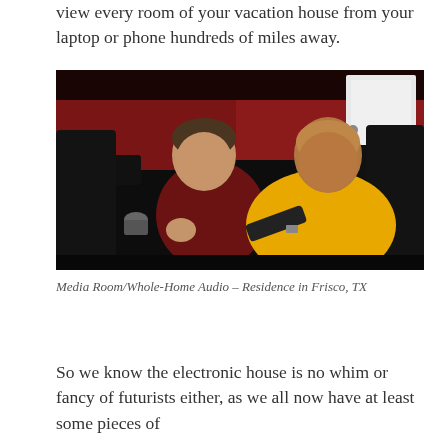view every room of your vacation house from your laptop or phone hundreds of miles away.
[Figure (photo): Two men sitting on black leather recliners/couches in a media room with dark red walls. The man on the left wears a dark red/maroon sweater and holds a remote control. The man on the right wears a yellow polo shirt and is looking at the remote. They appear to be discussing the device.]
Media Room/Whole-Home Audio – Residence in Frisco, TX
So we know the electronic house is no whim or fancy of futurists either, as we all now have at least some pieces of